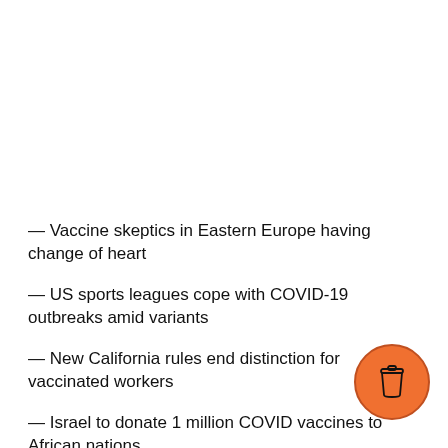— Vaccine skeptics in Eastern Europe having change of heart
— US sports leagues cope with COVID-19 outbreaks amid variants
— New California rules end distinction for vaccinated workers
— Israel to donate 1 million COVID vaccines to African nations
Go to https://APNews.com/coronavirus-pandemic for throughout the day.
[Figure (illustration): Orange circular button with coffee cup icon (Buy Me a Coffee widget)]